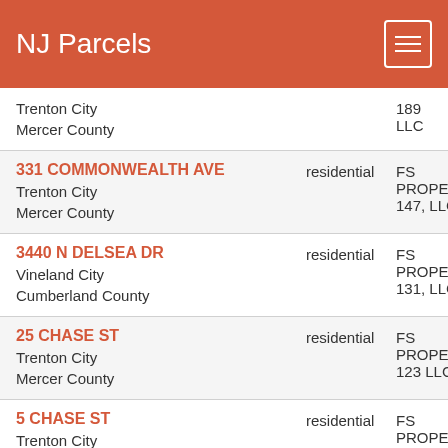NJ Parcels
Trenton City
Mercer County
189 LLC
331 COMMONWEALTH AVE
Trenton City
Mercer County
residential
FS PROPERTIES 147, LLC
3440 N DELSEA DR
Vineland City
Cumberland County
residential
FS PROPERTIES 131, LLC
25 CHASE ST
Trenton City
Mercer County
residential
FS PROPERTIES 123 LLC
5 CHASE ST
Trenton City
Mercer County
residential
FS PROPERTIES110 LLC C/O FOUNDATION
688 SOUTHARD ST
residential
FS PROPERTIES